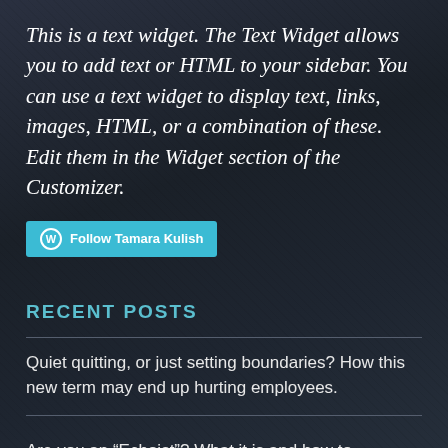This is a text widget. The Text Widget allows you to add text or HTML to your sidebar. You can use a text widget to display text, links, images, HTML, or a combination of these. Edit them in the Widget section of the Customizer.
[Figure (other): Follow Tamara Kulish button with WordPress logo icon, teal/cyan background]
RECENT POSTS
Quiet quitting, or just setting boundaries? How this new term may end up hurting employees.
Are you an “Echoist”? What it is and how to